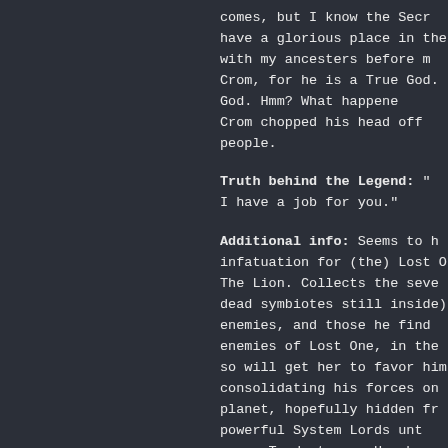comes, but I know the Secr have a glorious place in the with my ancesters before m Crom, for he is a True God. God. Hmm? What happene Crom chopped his head off people.
Truth behind the Legend: " I have a job for you."
Additional info: Seems to h infatuation for (the) Lost O The Lion. Collects the seve dead symbiotes still inside) enemies, and those he find enemies of Lost One, in the so will get her to favor him consolidating his forces on planet, hopefully hidden fr powerful System Lords unt move. Tends to say Hassha